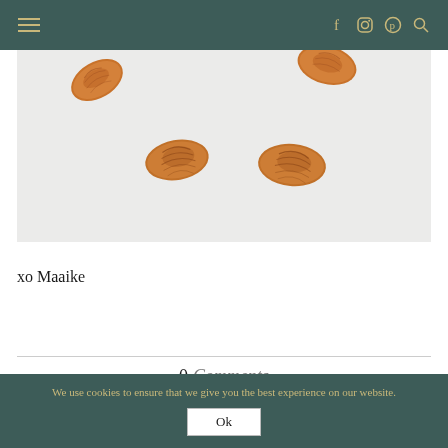Navigation header with hamburger menu and social icons (f, instagram, pinterest, search)
[Figure (photo): Overhead photo of several whole almonds scattered on a light gray/white background]
xo Maaike
0 Comments
We use cookies to ensure that we give you the best experience on our website.
Ok